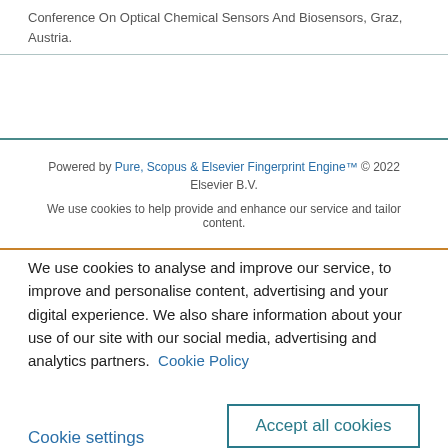Conference On Optical Chemical Sensors And Biosensors, Graz, Austria.
Powered by Pure, Scopus & Elsevier Fingerprint Engine™ © 2022 Elsevier B.V.
We use cookies to help provide and enhance our service and tailor content.
We use cookies to analyse and improve our service, to improve and personalise content, advertising and your digital experience. We also share information about your use of our site with our social media, advertising and analytics partners.  Cookie Policy
Cookie settings
Accept all cookies